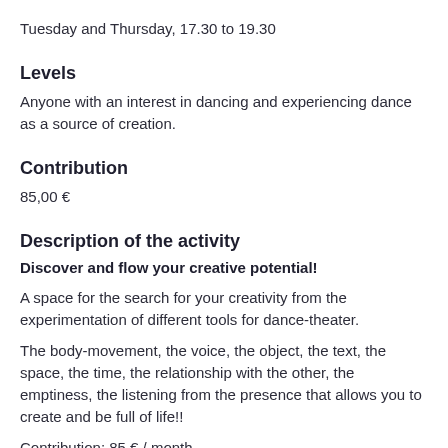Tuesday and Thursday, 17.30 to 19.30
Levels
Anyone with an interest in dancing and experiencing dance as a source of creation.
Contribution
85,00 €
Description of the activity
Discover and flow your creative potential!
A space for the search for your creativity from the experimentation of different tools for dance-theater.
The body-movement, the voice, the object, the text, the space, the time, the relationship with the other, the emptiness, the listening from the presence that allows you to create and be full of life!!
Contribution: 85 € / month